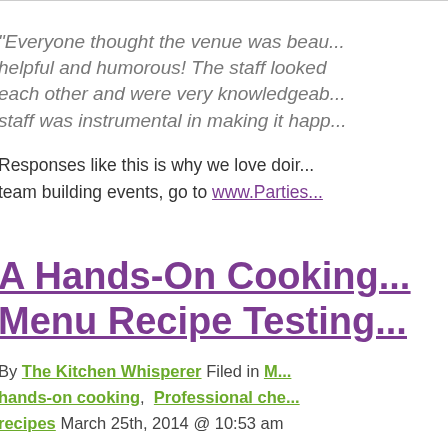"Everyone thought the venue was beau... helpful and humorous! The staff looked each other and were very knowledgeab... staff was instrumental in making it happ..."
Responses like this is why we love doir... team building events, go to www.Parties...
A Hands-On Cooking... Menu Recipe Testing...
By The Kitchen Whisperer Filed in M... hands-on cooking, Professional che... recipes March 25th, 2014 @ 10:53 am
About a month ago, a select group of P... and delicious taste testing. Our team of... recipes from our upcoming Spring Men... It was like our own hands-on cooking p... was lucky enough to tag along. My exc... products. Some of my favorite shots are...